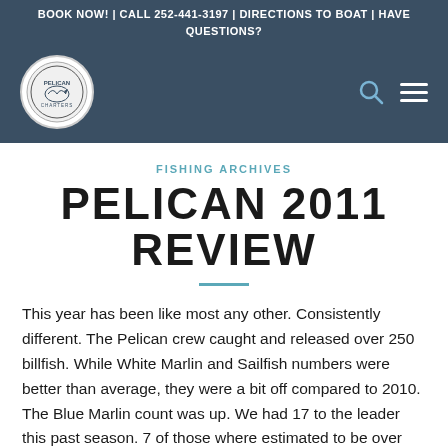BOOK NOW! | CALL 252-441-3197 | DIRECTIONS TO BOAT | HAVE QUESTIONS?
[Figure (logo): Pelican fishing charter circular logo with fish illustration]
FISHING ARCHIVES
PELICAN 2011 REVIEW
This year has been like most any other. Consistently different. The Pelican crew caught and released over 250 billfish. While White Marlin and Sailfish numbers were better than average, they were a bit off compared to 2010. The Blue Marlin count was up. We had 17 to the leader this past season. 7 of those where estimated to be over 400 pounds. The Dolphin and Tuna fishing was